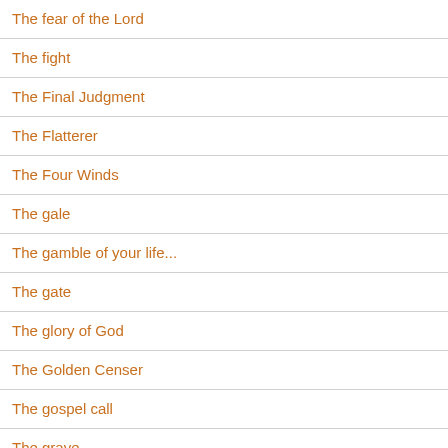The fear of the Lord
The fight
The Final Judgment
The Flatterer
The Four Winds
The gale
The gamble of your life...
The gate
The glory of God
The Golden Censer
The gospel call
The grave
The hard road